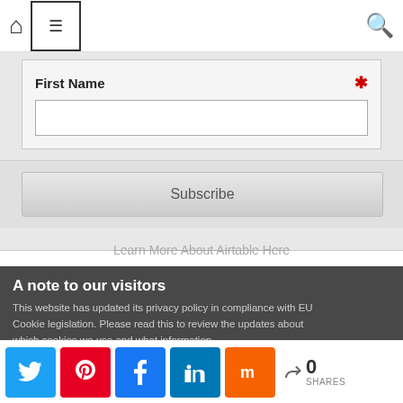[Figure (screenshot): Navigation bar with home icon, hamburger menu box, and search icon]
First Name *
[Figure (screenshot): Text input field for First Name]
[Figure (screenshot): Subscribe button]
Learn More About Airtable Here
A note to our visitors
This website has updated its privacy policy in compliance with EU Cookie legislation. Please read this to review the updates about which cookies we use and what information
I agree
[Figure (screenshot): Social sharing buttons: Twitter, Pinterest, Facebook, LinkedIn, Mix, and share count showing 0 SHARES]